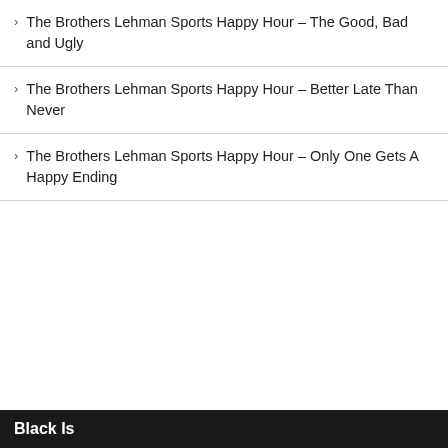The Brothers Lehman Sports Happy Hour – The Good, Bad and Ugly
The Brothers Lehman Sports Happy Hour – Better Late Than Never
The Brothers Lehman Sports Happy Hour – Only One Gets A Happy Ending
Black Is